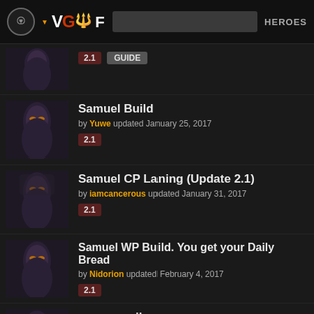VGF HEROES
2.1 GUIDE (partial entry at top)
Samuel Build by Yuwe updated January 25, 2017 — 2.1
Samuel CP Laning (Update 2.1) by iamcancerous updated January 31, 2017 — 2.1
Samuel WP Build. You get your Daily Bread by Nidorion updated February 4, 2017 — 2.1
carry, carril by elnubi updated February 10, 2017 — 2.1 ES
Corrupted Passive by ahmedsaad9088 updated February 17, 2017